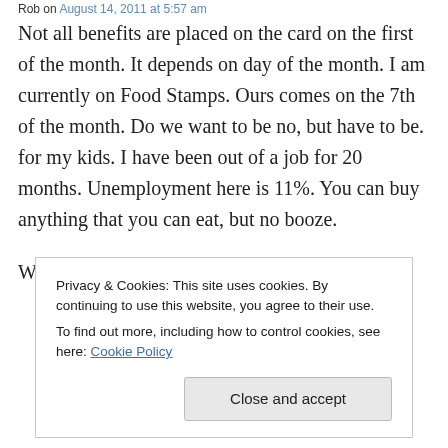Rob on August 14, 2011 at 5:57 am
Not all benefits are placed on the card on the first of the month. It depends on day of the month. I am currently on Food Stamps. Ours comes on the 7th of the month. Do we want to be no, but have to be. for my kids. I have been out of a job for 20 months. Unemployment here is 11%. You can buy anything that you can eat, but no booze.
We had someone ask us if he could buy us
Privacy & Cookies: This site uses cookies. By continuing to use this website, you agree to their use.
To find out more, including how to control cookies, see here: Cookie Policy
Close and accept
food, and a cheap motel or they sleep outside